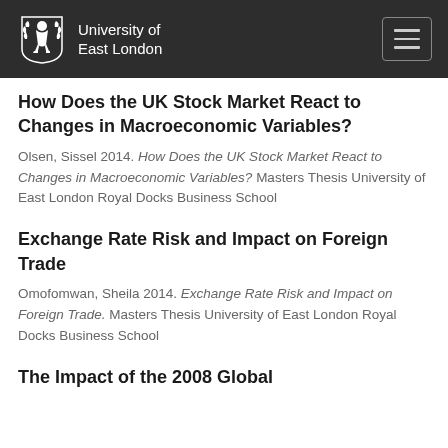University of East London
How Does the UK Stock Market React to Changes in Macroeconomic Variables?
Olsen, Sissel 2014. How Does the UK Stock Market React to Changes in Macroeconomic Variables? Masters Thesis University of East London Royal Docks Business School
Exchange Rate Risk and Impact on Foreign Trade
Omofomwan, Sheila 2014. Exchange Rate Risk and Impact on Foreign Trade. Masters Thesis University of East London Royal Docks Business School
The Impact of the 2008 Global...